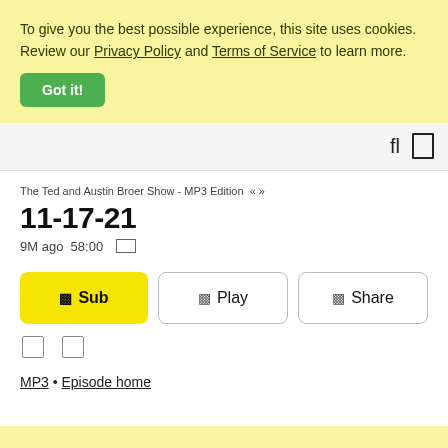To give you the best possible experience, this site uses cookies. Review our Privacy Policy and Terms of Service to learn more.
Got it!
fl  □
The Ted and Austin Broer Show - MP3 Edition  « »
11-17-21
9M ago 58:00
□ Sub  □ Play  □ Share
MP3 • Episode home